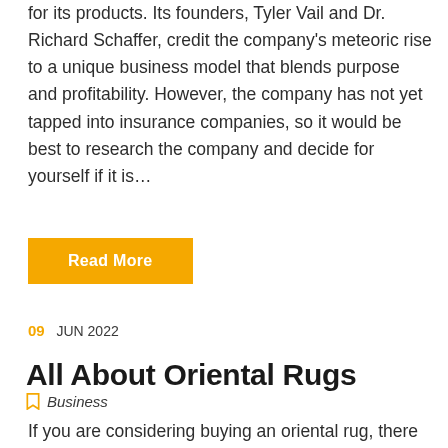for its products. Its founders, Tyler Vail and Dr. Richard Schaffer, credit the company's meteoric rise to a unique business model that blends purpose and profitability. However, the company has not yet tapped into insurance companies, so it would be best to research the company and decide for yourself if it is…
Read More
09 JUN 2022
All About Oriental Rugs
Business
If you are considering buying an oriental rug, there are a few things you need to know. Proper